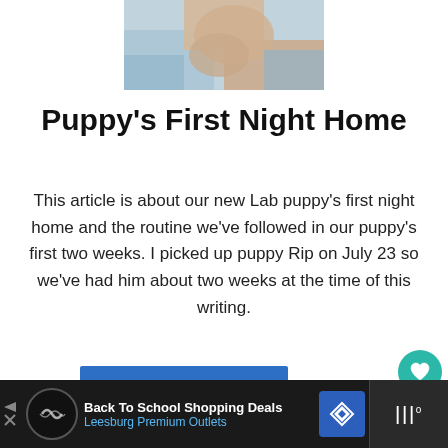[Figure (photo): Partial photo of a puppy with colorful fabric/blankets, cropped at top of page]
Puppy's First Night Home
This article is about our new Lab puppy's first night home and the routine we've followed in our puppy's first two weeks. I picked up puppy Rip on July 23 so we've had him about two weeks at the time of this writing.
[Figure (other): Blue READ MORE button]
[Figure (other): Advertisement bar: Back To School Shopping Deals - Leesburg Premium Outlets]
Back To School Shopping Deals Leesburg Premium Outlets